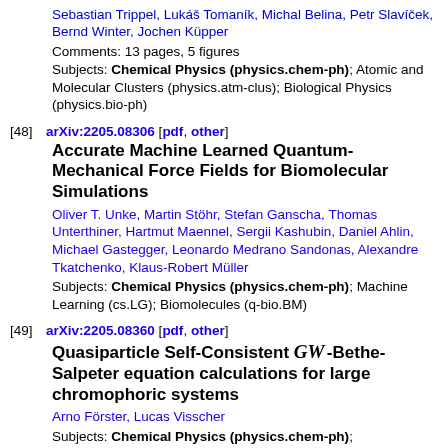Sebastian Trippel, Lukáš Tomaník, Michal Belina, Petr Slavíček, Bernd Winter, Jochen Küpper
Comments: 13 pages, 5 figures
Subjects: Chemical Physics (physics.chem-ph); Atomic and Molecular Clusters (physics.atm-clus); Biological Physics (physics.bio-ph)
[48]  arXiv:2205.08306 [pdf, other]
Accurate Machine Learned Quantum-Mechanical Force Fields for Biomolecular Simulations
Oliver T. Unke, Martin Stöhr, Stefan Ganscha, Thomas Unterthiner, Hartmut Maennel, Sergii Kashubin, Daniel Ahlin, Michael Gastegger, Leonardo Medrano Sandonas, Alexandre Tkatchenko, Klaus-Robert Müller
Subjects: Chemical Physics (physics.chem-ph); Machine Learning (cs.LG); Biomolecules (q-bio.BM)
[49]  arXiv:2205.08360 [pdf, other]
Quasiparticle Self-Consistent GW-Bethe-Salpeter equation calculations for large chromophoric systems
Arno Förster, Lucas Visscher
Subjects: Chemical Physics (physics.chem-ph); ...